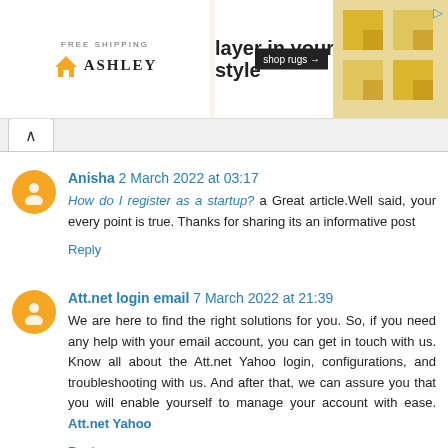[Figure (other): Ashley Furniture advertisement banner: FREE SHIPPING, layer in your style, shop rugs button, decorative rug pattern background]
^ (tab/accordion toggle arrow)
Anisha 2 March 2022 at 03:17
How do I register as a startup? a Great article.Well said, your every point is true. Thanks for sharing its an informative post
Reply
Att.net login email 7 March 2022 at 21:39
We are here to find the right solutions for you. So, if you need any help with your email account, you can get in touch with us. Know all about the Att.net Yahoo login, configurations, and troubleshooting with us. And after that, we can assure you that you will enable yourself to manage your account with ease. Att.net Yahoo
Reply